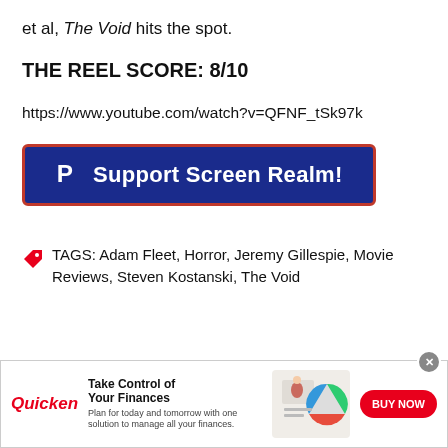et al, The Void hits the spot.
THE REEL SCORE: 8/10
https://www.youtube.com/watch?v=QFNF_tSk97k
[Figure (other): PayPal Support Screen Realm! button in dark blue with red border]
TAGS: Adam Fleet, Horror, Jeremy Gillespie, Movie Reviews, Steven Kostanski, The Void
[Figure (other): Quicken advertisement banner: Take Control of Your Finances. Plan for today and tomorrow with one solution to manage all your finances. BUY NOW button.]